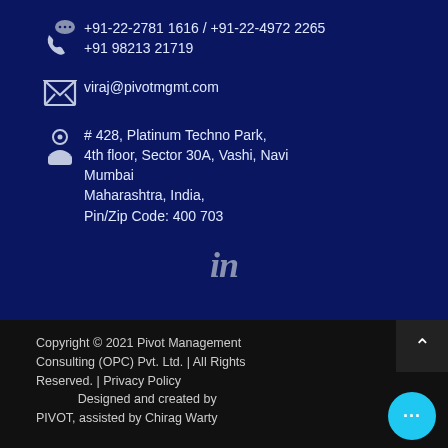+91-22-2781 1616 / +91-22-4972 2265
+91 98213 21719
viraj@pivotmgmt.com
# 428, Platinum Techno Park,
4th floor, Sector 30A, Vashi, Navi Mumbai
Maharashtra, India,
Pin/Zip Code: 400 703
[Figure (logo): LinkedIn logo icon (in)]
Copyright © 2021 Pivot Management Consulting (OPC) Pvt. Ltd. | All Rights Reserved. | Privacy Policy
Designed and created by PIVOT, assisted by Chirag Warty